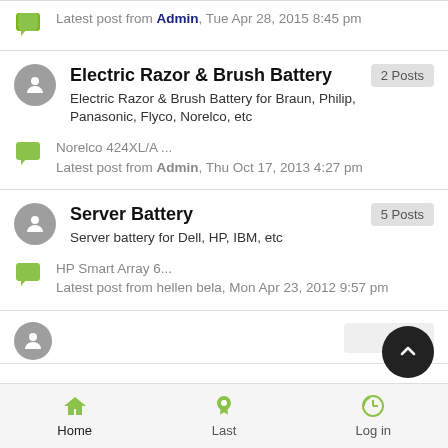Latest post from Admin, Tue Apr 28, 2015 8:45 pm
Electric Razor & Brush Battery — 2 Posts. Electric Razor & Brush Battery for Braun, Philip, Panasonic, Flyco, Norelco, etc. Norelco 424XL/A ... Latest post from Admin, Thu Oct 17, 2013 4:27 pm
Server Battery — 5 Posts. Server battery for Dell, HP, IBM, etc. HP Smart Array 6... Latest post from hellen bela, Mon Apr 23, 2012 9:57 pm
Home  Last  Log in